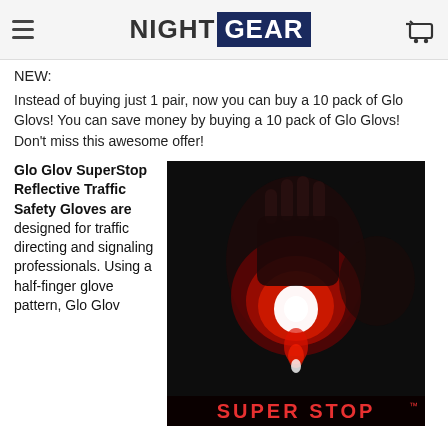NIGHT GEAR
NEW:
Instead of buying just 1 pair, now you can buy a 10 pack of Glo Glovs! You can save money by buying a 10 pack of Glo Glovs! Don't miss this awesome offer!
Glo Glov SuperStop Reflective Traffic Safety Gloves are designed for traffic directing and signaling professionals. Using a half-finger glove pattern, Glo Glov
[Figure (photo): Person holding out a glove with bright red/white LED light glowing in palm against dark background. Text at bottom reads SUPER STOP with TM symbol.]